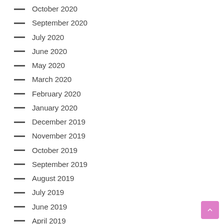October 2020
September 2020
July 2020
June 2020
May 2020
March 2020
February 2020
January 2020
December 2019
November 2019
October 2019
September 2019
August 2019
July 2019
June 2019
April 2019
March 2019